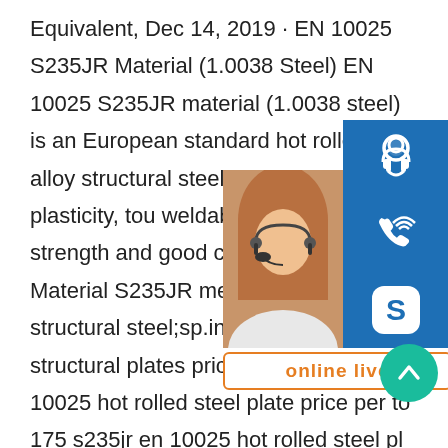Equivalent, Dec 14, 2019 · EN 10025 S235JR Material (1.0038 Steel) EN 10025 S235JR material (1.0038 steel) is an European standard hot rolled non-alloy structural steel. It has good plasticity, toughness, weldability, certain strength and good cold stamping properties. Material S235JR meaning (designation): S is short for structural steel;sp.info en 10025 hot rolled structural plates prices per Despre sp.info en 10025 hot rolled steel plate price per ton.175 s235jr en 10025 hot rolled steel plate products.About 14% of these are Steel Sheets.A wide variety of s235jr en 10025 hot rolled steel plate are available to you,such as application,special use.prime hot rolled steel sheet plate price list s235jr 2 5mm thick en 10025 s235jr prime
[Figure (infographic): Customer service sidebar with 24/7 text, a photo of a woman with headset, icons for headset/phone/Skype on blue backgrounds, a PROVIDE Empowering Customers bar, an orange-bordered 'online live' button, and a teal scroll-to-top arrow button.]